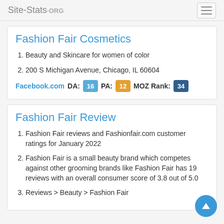Site-Stats.ORG
Fashion Fair Cosmetics
Beauty and Skincare for women of color
200 S Michigan Avenue, Chicago, IL 60604
Facebook.com   DA: 16   PA: 12   MOZ Rank: 34
Fashion Fair Review
Fashion Fair reviews and Fashionfair.com customer ratings for January 2022
Fashion Fair is a small beauty brand which competes against other grooming brands like Fashion Fair has 19 reviews with an overall consumer score of 3.8 out of 5.0
Reviews > Beauty > Fashion Fair